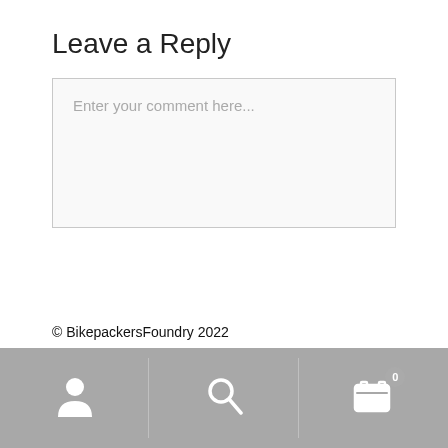Leave a Reply
[Figure (screenshot): Comment input text area with placeholder text 'Enter your comment here...']
© BikepackersFoundry 2022
[Figure (infographic): Bottom navigation bar with three sections: user/person icon, search/magnifier icon, and shopping cart icon with badge showing 0]